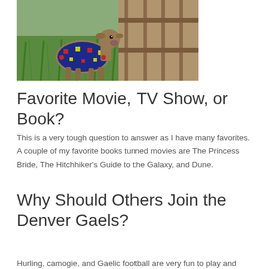[Figure (photo): A small baby goat wearing a colorful knitted sweater with red, blue and yellow pattern, standing in green grass near a wooden fence.]
Favorite Movie, TV Show, or Book?
This is a very tough question to answer as I have many favorites. A couple of my favorite books turned movies are The Princess Bride, The Hitchhiker's Guide to the Galaxy, and Dune.
Why Should Others Join the Denver Gaels?
Hurling, camogie, and Gaelic football are very fun to play and